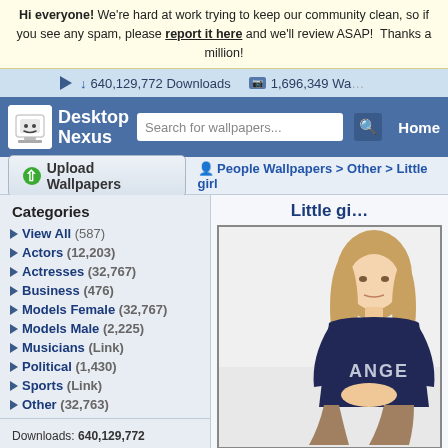Hi everyone! We're hard at work trying to keep our community clean, so if you see any spam, please report it here and we'll review ASAP! Thanks a million!
640,129,772 Downloads  1,696,349 Wallpapers
[Figure (screenshot): Desktop Nexus logo with white icon and text]
Search for wallpapers...  Home
Upload Wallpapers
People Wallpapers > Other > Little girl
Categories
View All (587)
Actors (12,203)
Actresses (32,767)
Business (476)
Models Female (32,767)
Models Male (2,225)
Musicians (Link)
Political (1,430)
Sports (Link)
Other (32,763)
Downloads: 640,129,772
People Walls: 247,386
All Wallpapers: 1,696,349
Tag Count: 9,948,936
Little gi...
[Figure (photo): Photo of a young girl with long brown hair wearing a dark blue sweater with 'ANGE' text, sitting cross-legged]